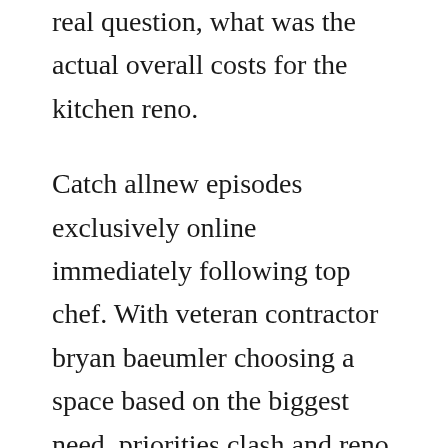real question, what was the actual overall costs for the kitchen reno.
Catch allnew episodes exclusively online immediately following top chef. With veteran contractor bryan baeumler choosing a space based on the biggest need, priorities clash and reno dreams are put on pause. Jul 28, 2019 sarah baeumler is happily married to canadian tv host bryan baeumler. Learning valuable tricks of the trade from his father, a. Couples pitch veteran contractor bryan baeumler the spaces they want renovated most, but leave bryan with the final verdict. Additionally, they